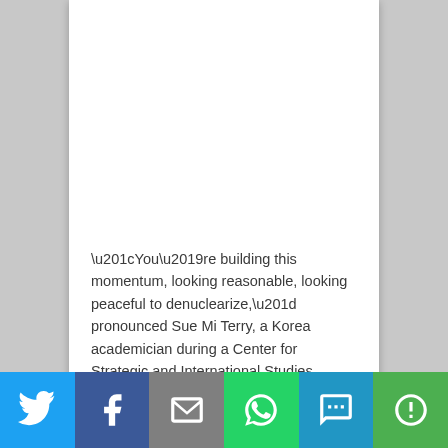“You’re building this momentum, looking reasonable, looking peaceful to denuclearize,” pronounced Sue Mi Terry, a Korea academician during a Center for Strategic and International Studies, referring to a North Koreans. All of that creates it harder for Mr. Trump to censure a North Koreans if talks do not produce a breakthrough. “If we don’t play ball, with this hawkish group in place with Bolton and so on, during slightest perception-
[Figure (other): Social sharing bar with Twitter, Facebook, Email, WhatsApp, SMS, and More buttons]